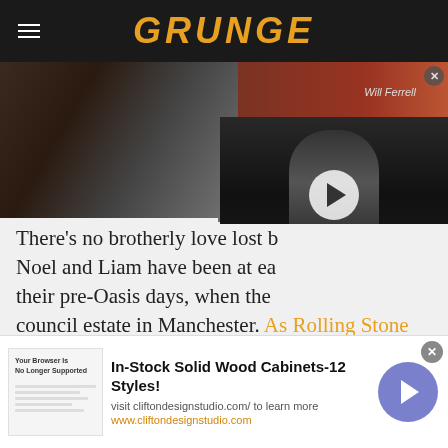GRUNGE
[Figure (screenshot): Website screenshot showing the Grunge logo header in dark bar with hamburger menu, photo strip of band/concert images, embedded video thumbnail with play button of a long-haired singer, and article text about Oasis brothers Noel and Liam Gallagher]
There's no brotherly love lost b... Noel and Liam have been at ea... their pre-Oasis days, when the... council estate in Manchester. As Rolling Stone reports, Liam has sardonically backdated their feud to the night he drunkenly mistook his older brother's new stereo for a toilet.
[Figure (photo): Ad banner for cliftondesignstudio.com showing In-Stock Solid Wood Cabinets-12 Styles with navigation arrow button]